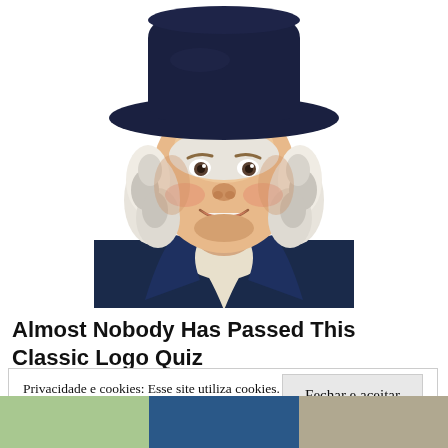[Figure (illustration): Illustrated portrait of the Quaker Oats man mascot — a smiling man with white curly hair, wearing a dark navy coat with a white cravat and a wide-brimmed dark hat, shown from the chest up against a white background.]
Almost Nobody Has Passed This Classic Logo Quiz
Privacidade e cookies: Esse site utiliza cookies. Ao continuar a usar este site, você concorda com seu uso.
Para saber mais, inclusive sobre como controlar os cookies, consulte aqui: Política de cookies
Fechar e aceitar
[Figure (photo): Bottom strip of thumbnail images partially visible at the very bottom of the page.]